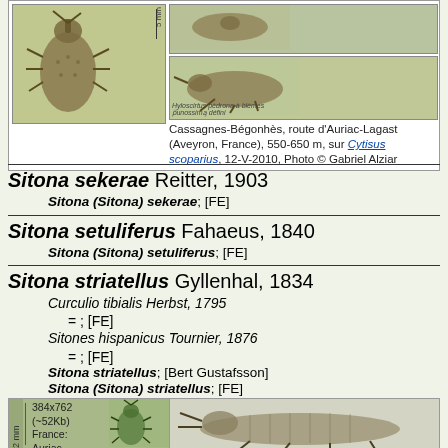[Figure (photo): Beetle photos: dorsal and lateral views of a weevil specimen, with scale bar and caption text inside bordered box. Caption: Cassagnes-Bégonhès, route d'Auriac-Lagast (Aveyron, France), 550-650 m, sur Cytisus scoparius, 12-V-2010, Photo © Gabriel Alziar]
Sitona sekerae Reitter, 1903
Sitona (Sitona) sekerae; [FE]
Sitona setuliferus Fahaeus, 1840
Sitona (Sitona) setuliferus; [FE]
Sitona striatellus Gyllenhal, 1834
Curculio tibialis Herbst, 1795
= ; [FE]
Sitones hispanicus Tournier, 1876
= ; [FE]
Sitona striatellus; [Bert Gustafsson]
Sitona (Sitona) striatellus; [FE]
[Figure (photo): Two beetle photos: left image 384x762 (~52Kb), France: Auriac-Lagast, E; right image showing lateral view of striped weevil]